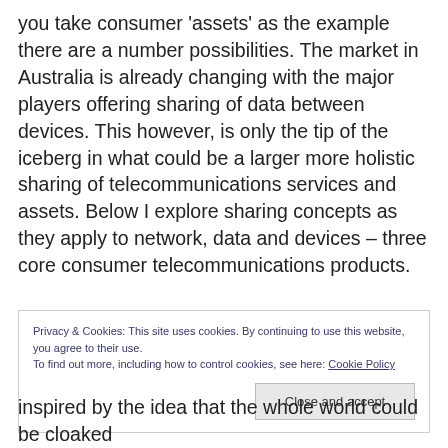you take consumer 'assets' as the example there are a number possibilities. The market in Australia is already changing with the major players offering sharing of data between devices. This however, is only the tip of the iceberg in what could be a larger more holistic sharing of telecommunications services and assets. Below I explore sharing concepts as they apply to network, data and devices – three core consumer telecommunications products.
Privacy & Cookies: This site uses cookies. By continuing to use this website, you agree to their use. To find out more, including how to control cookies, see here: Cookie Policy
inspired by the idea that the whole world could be cloaked